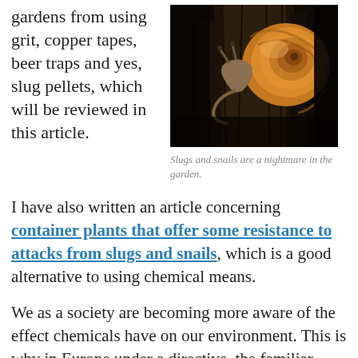gardens from using grit, copper tapes, beer traps and yes, slug pellets, which will be reviewed in this article.
[Figure (photo): A snail with a brown-orange shell climbing on tree bark, close-up photograph.]
Slugs and snails are a nightmare in the garden.
I have also written an article concerning container plants that offer some resistance to attacks from slugs and snails, which is a good alternative to using chemical means.
We as a society are becoming more aware of the effect chemicals have on our environment. This is why in Europe under a directive, the familiar